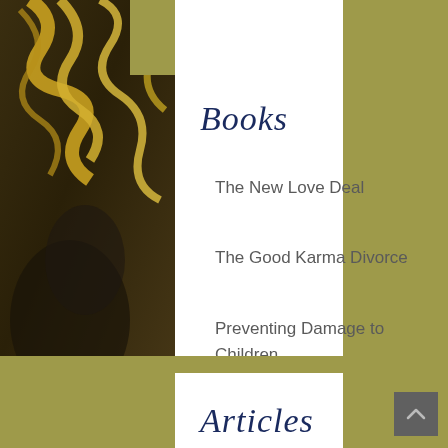[Figure (illustration): Dark background with swirling gold and dark paint/horse texture on the left side, olive/gold colored background on the right side]
Books
The New Love Deal
The Good Karma Divorce
Preventing Damage to Children During Divorce
Parental Alienation 911
Articles